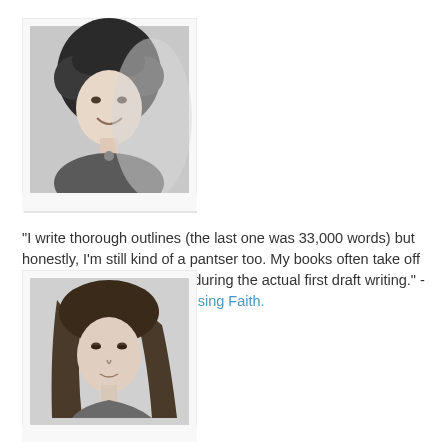[Figure (photo): Black and white portrait photo of a woman with curly hair, smiling, with a polaroid-style white border]
"I write thorough outlines (the last one was 33,000 words) but honestly, I'm still kind of a pantser too. My books often take off in directions I don't expect during the actual first draft writing." - Denise Jade, author of Losing Faith.
[Figure (photo): Black and white portrait photo of a woman with long straight hair, looking slightly to the side, with a polaroid-style white border]